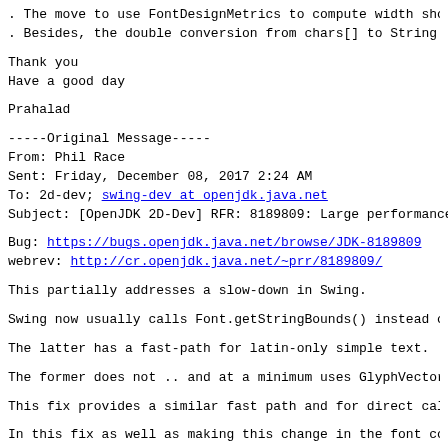. The move to use FontDesignMetrics to compute width sho
. Besides, the double conversion from chars[] to String a
Thank you
Have a good day
Prahalad
-----Original Message-----
From: Phil Race
Sent: Friday, December 08, 2017 2:24 AM
To: 2d-dev; swing-dev at openjdk.java.net
Subject: [OpenJDK 2D-Dev] RFR: 8189809: Large performance
Bug: https://bugs.openjdk.java.net/browse/JDK-8189809
webrev: http://cr.openjdk.java.net/~prr/8189809/
This partially addresses a slow-down in Swing.
Swing now usually calls Font.getStringBounds() instead of
The latter has a fast-path for latin-only simple text.
The former does not .. and at a minimum uses GlyphVector
This fix provides a similar fast path and for direct cal
In this fix as well as making this change in the font co
Before this fix I always saw Swing  coming in with a cha
The latter contributing the longer overhead which